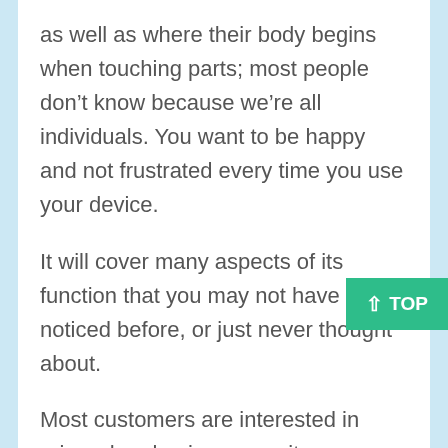as well as where their body begins when touching parts; most people don't know because we're all individuals. You want to be happy and not frustrated every time you use your device.
It will cover many aspects of its function that you may not have noticed before, or just never thought about.
Most customers are interested in price when buying a new item or replacement part for an older one they already own.